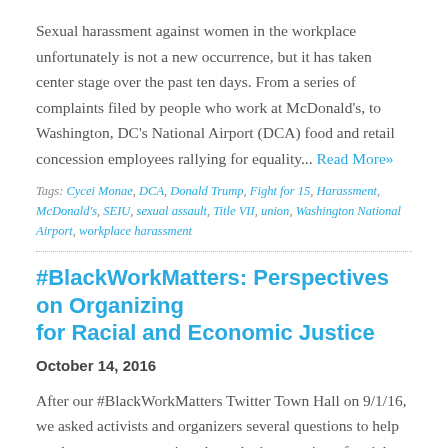Sexual harassment against women in the workplace unfortunately is not a new occurrence, but it has taken center stage over the past ten days. From a series of complaints filed by people who work at McDonald's, to Washington, DC's National Airport (DCA) food and retail concession employees rallying for equality... Read More»
Tags: Cycei Monae, DCA, Donald Trump, Fight for 15, Harassment, McDonald's, SEIU, sexual assault, Title VII, union, Washington National Airport, workplace harassment
#BlackWorkMatters: Perspectives on Organizing for Racial and Economic Justice
October 14, 2016
After our #BlackWorkMatters Twitter Town Hall on 9/1/16, we asked activists and organizers several questions to help catalyze our conversation about the intersection of racial and